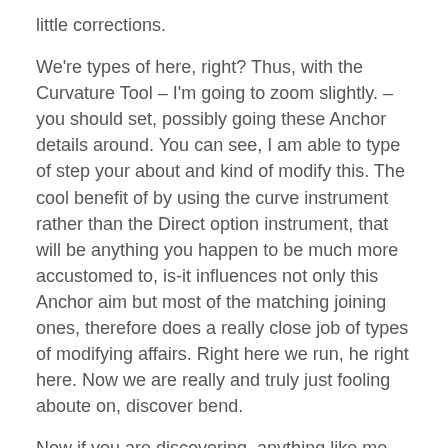little corrections.
We're types of here, right? Thus, with the Curvature Tool – I'm going to zoom slightly. – you should set, possibly going these Anchor details around. You can see, I am able to type of step your about and kind of modify this. The cool benefit of by using the curve instrument rather than the Direct option instrument, that will be anything you happen to be much more accustomed to, is-it influences not only this Anchor aim but most of the matching joining ones, therefore does a really close job of types of modifying affairs. Right here we run, he right here. Now we are really and truly just fooling aboute on, discover bend.
Now if you are discovering, anything like me, that Intelligent Guides were variety of trying to seize control, head to 'View', change wise instructions 'off',